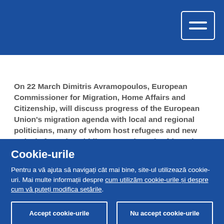On 22 March Dimitris Avramopoulos, European Commissioner for Migration, Home Affairs and Citizenship, will discuss progress of the European Union's migration agenda with local and regional politicians, many of whom host refugees and new arrivals from the Middle East and North Africa. The migration debate kicks off the European Committee of the Regions' plenary session in Brussels that will also focus on the EU's possible enlargement to the Western Balkans.
Cookie-urile
Pentru a vă ajuta să navigați cât mai bine, site-ul utilizează cookie-uri. Mai multe informații despre cum utilizăm cookie-urile și despre cum vă puteți modifica setările.
Accept cookie-urile | Nu accept cookie-urile